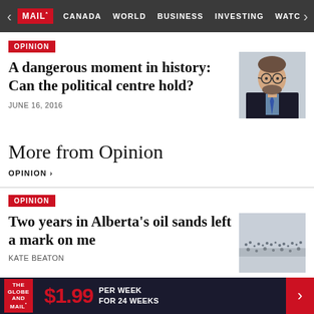MAIL* — CANADA  WORLD  BUSINESS  INVESTING  WATC
[Figure (screenshot): Red MAIL* logo on dark navigation bar with nav links: CANADA, WORLD, BUSINESS, INVESTING, WATC]
OPINION
A dangerous moment in history: Can the political centre hold?
[Figure (photo): Headshot of a man with glasses and beard wearing a suit]
JUNE 16, 2016
More from Opinion
OPINION >
OPINION
Two years in Alberta's oil sands left a mark on me
[Figure (photo): Aerial or landscape photo of Alberta oil sands, grey and white tones]
KATE BEATON
THE GLOBE AND MAIL* — $1.99 PER WEEK FOR 24 WEEKS